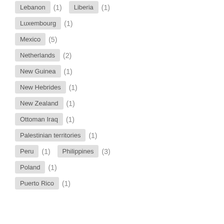Lebanon (1)  Liberia (1)
Luxembourg (1)
Mexico (5)
Netherlands (2)
New Guinea (1)
New Hebrides (1)
New Zealand (1)
Ottoman Iraq (1)
Palestinian territories (1)
Peru (1)  Philippines (3)
Poland (1)
Puerto Rico (1)